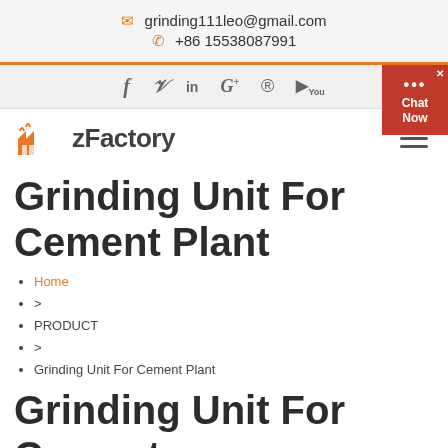grinding111leo@gmail.com  +86 15538087991
[Figure (logo): Social media icons: Facebook, Twitter, LinkedIn, Google+, Pinterest, YouTube]
[Figure (logo): zFactory logo with orange factory icon and bold text 'zFactory']
Grinding Unit For Cement Plant
Home
>
PRODUCT
>
Grinding Unit For Cement Plant
Grinding Unit For Cement